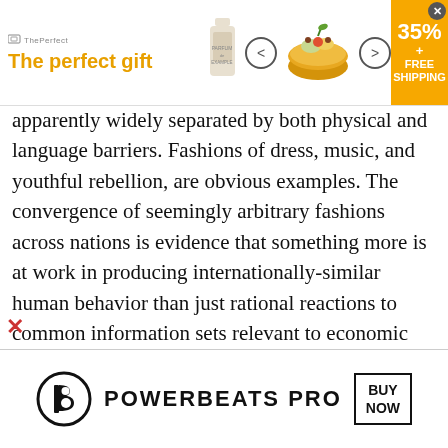A Global...
[Figure (screenshot): Advertisement banner at top: 'The perfect gift' with bowl of food, navigation arrows, and '35% + FREE SHIPPING' offer badge]
apparently widely separated by both physical and language barriers. Fashions of dress, music, and youthful rebellion, are obvious examples. The convergence of seemingly arbitrary fashions across nations is evidence that something more is at work in producing internationally-similar human behavior than just rational reactions to common information sets relevant to economic fundamentals, see Featherstone (1990). And yet it will not be an easy matter for us to decide in what avenues global culture exerts its influence (Hannerz, 1990, p. 237): There is now a world culture, but we had better make sure that we understand what this means. It is marked by an organization of diversity rather than by a replication of uniformity. No total homogenization of system
[Figure (screenshot): Advertisement banner at bottom: Beats logo with text 'POWERBEATS PRO' and 'BUY NOW' button]